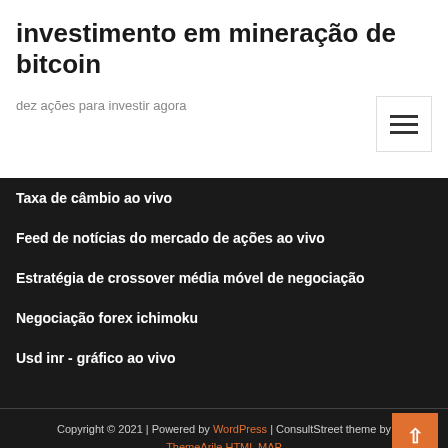investimento em mineração de bitcoin
dez ações para investir agora
Taxa de câmbio ao vivo
Feed de notícias do mercado de ações ao vivo
Estratégia de crossover média móvel de negociação
Negociação forex ichimoku
Usd inr - gráfico ao vivo
Copyright © 2021 | Powered by WordPress | ConsultStreet theme by ThemeArile HTML MAP